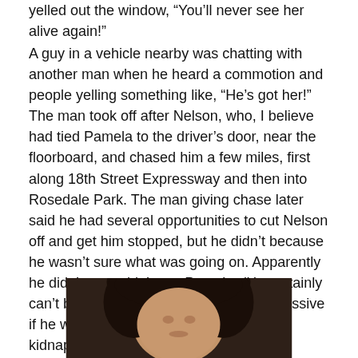yelled out the window, “You’ll never see her alive again!”
A guy in a vehicle nearby was chatting with another man when he heard a commotion and people yelling something like, “He’s got her!” The man took off after Nelson, who, I believe had tied Pamela to the driver’s door, near the floorboard, and chased him a few miles, first along 18th Street Expressway and then into Rosedale Park. The man giving chase later said he had several opportunities to cut Nelson off and get him stopped, but he didn’t because he wasn’t sure what was going on. Apparently he didn’t or couldn’t see Pamela. (He certainly can’t be blamed for not being more aggressive if he wasn’t sure the fleeing man had kidnapped someone.)
[Figure (photo): Partial photograph of a person, cropped at bottom of page, showing face and dark hair against dark background]